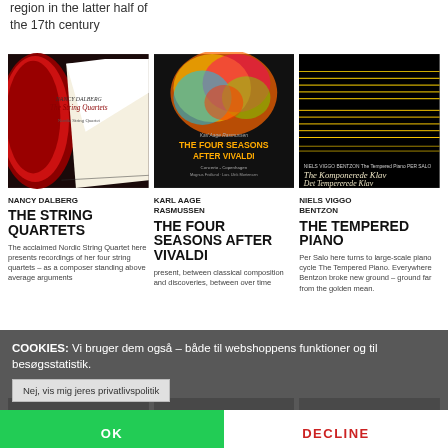region in the latter half of the 17th century
[Figure (photo): Album cover: Nancy Dalberg – The String Quartets. Shows red/dark abstract shape on left, white shape on right, cream background with text in center.]
[Figure (photo): Album cover: Karl Aage Rasmussen – The Four Seasons After Vivaldi. Dark background with colorful abstract flower image at top, orange title text below.]
[Figure (photo): Album cover: Niels Viggo Bentzon – The Tempered Piano. Black background with horizontal musical staff lines in gold/yellow, text overlay.]
NANCY DALBERG
THE STRING QUARTETS
The acclaimed Nordic String Quartet here presents recordings of her four string quartets – as a composer standing above average arguments
KARL AAGE RASMUSSEN
THE FOUR SEASONS AFTER VIVALDI
present, between classical composition and discoveries, between over time
NIELS VIGGO BENTZON
THE TEMPERED PIANO
Per Salo here turns to large-scale piano cycle The Tempered Piano. Everywhere Bentzon broke new ground – ground far from the golden mean.
COOKIES: Vi bruger dem også – både til webshoppens funktioner og til besøgsstatistik.
Nej, vis mig jeres privatlivspolitik
OK    DECLINE